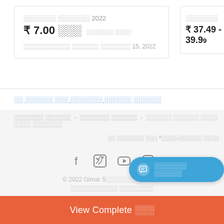███████ ███████ 2022 ₹ 7.00 ███ ███████ ████ ███████████ ██████: ███████ 15, 2022
███████ ₹ 37.49 - 39.99
██ ██████ ███ ███████ ██████ ██████
███████ ██████ › ███████ ██████ › ██████ ██████ ████ ████ ███████
██ ███████ ███ *████-██████ ████
[Figure (screenshot): Social media icons: Facebook, Twitter, YouTube, Instagram]
© 2022 Girnar S███████████ ████████
[Figure (other): Blue chat bubble button with icon and text ███████ ██████]
View Complete ███